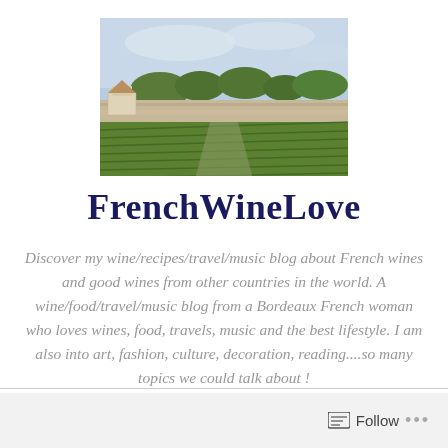[Figure (photo): Aerial view of French vineyard landscape with green rows of vines, stone walls, and countryside buildings under a partly cloudy sky]
FrenchWineLove
Discover my wine/recipes/travel/music blog about French wines and good wines from other countries in the world. A wine/food/travel/music blog from a Bordeaux French woman who loves wines, food, travels, music and the best lifestyle. I am also into art, fashion, culture, decoration, reading....so many topics we could talk about !